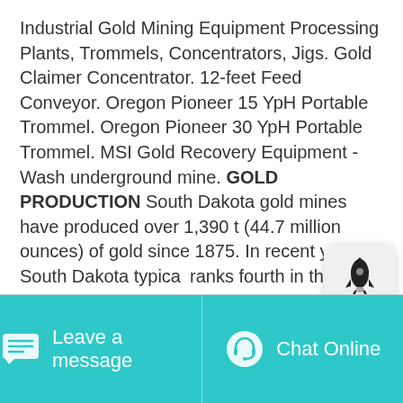Industrial Gold Mining Equipment Processing Plants, Trommels, Concentrators, Jigs. Gold Claimer Concentrator. 12-feet Feed Conveyor. Oregon Pioneer 15 YpH Portable Trommel. Oregon Pioneer 30 YpH Portable Trommel. MSI Gold Recovery Equipment - Wash underground mine. GOLD PRODUCTION South Dakota gold mines have produced over 1,390 t (44.7 million ounces) of gold since 1875. In recent years, South Dakota typically ranks fourth in the nation in gold production, behind Nevada, California, and Utah. Annual gold production from the five large scale mines has recently ranged between
[Figure (other): Rocket icon popup/overlay button in light gray rounded rectangle]
Get More
Leave a message   Chat Online